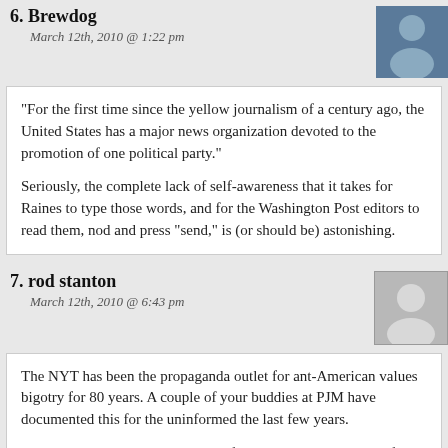6. Brewdog
March 12th, 2010 @ 1:22 pm
“For the first time since the yellow journalism of a century ago, the United States has a major news organization devoted to the promotion of one political party.”
Seriously, the complete lack of self-awareness that it takes for Raines to type those words, and for the Washington Post editors to read them, nod and press “send,” is (or should be) astonishing.
7. rod stanton
March 12th, 2010 @ 6:43 pm
The NYT has been the propaganda outlet for ant-American values bigotry for 80 years. A couple of your buddies at PJM have documented this for the uninformed the last few years.
As an exJarhead I have been all to familiar with their bigotry for 6 decades. To see what I’m talking about read their coverage of the War in the Pacific 67 – 65 years ago. They hate the Corps and I have reciprocated for over 50 years.
I will be very happy when all those M-F- s= of b-s got to H*ll Were I